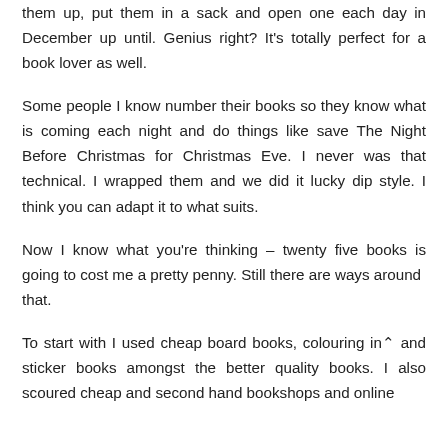them up, put them in a sack and open one each day in December up until. Genius right? It's totally perfect for a book lover as well.

Some people I know number their books so they know what is coming each night and do things like save The Night Before Christmas for Christmas Eve. I never was that technical. I wrapped them and we did it lucky dip style. I think you can adapt it to what suits.

Now I know what you're thinking – twenty five books is going to cost me a pretty penny. Still there are ways around that.

To start with I used cheap board books, colouring in and sticker books amongst the better quality books. I also scoured cheap and second hand bookshops and online